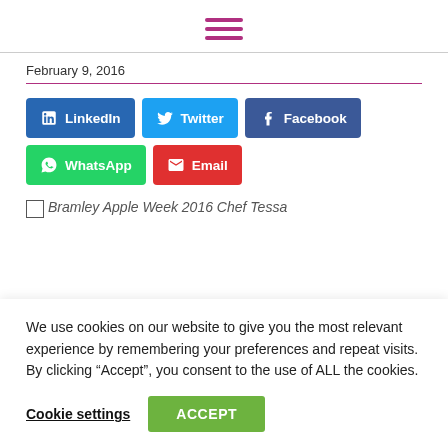[Figure (other): Hamburger menu icon — three horizontal purple lines]
February 9, 2016
[Figure (other): Social share buttons: LinkedIn, Twitter, Facebook, WhatsApp, Email]
[Figure (photo): Bramley Apple Week 2016 Chef Tessa (partially visible image placeholder)]
We use cookies on our website to give you the most relevant experience by remembering your preferences and repeat visits. By clicking “Accept”, you consent to the use of ALL the cookies.
Cookie settings   ACCEPT